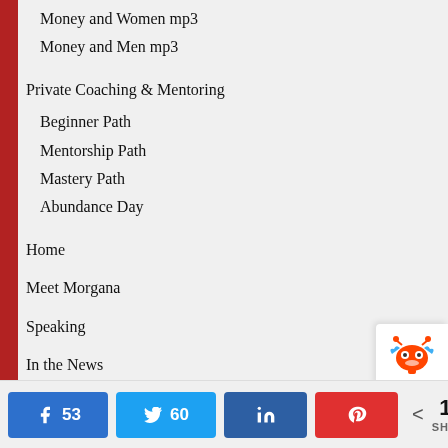Money and Women mp3
Money and Men mp3
Private Coaching & Mentoring
Beginner Path
Mentorship Path
Mastery Path
Abundance Day
Home
Meet Morgana
Speaking
In the News
Success Stories
Free Stuff
53 Facebook shares, 60 Twitter shares, LinkedIn share, Pinterest share. < 113 SHARES